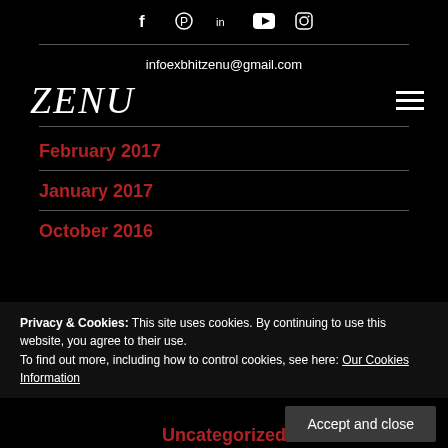Social icons: Facebook, Pinterest, LinkedIn, YouTube, Instagram
infoexbhitzenu@gmail.com
[Figure (logo): ZENU logo in handwritten/italic style, white text on black background]
February 2017
January 2017
October 2016
Privacy & Cookies: This site uses cookies. By continuing to use this website, you agree to their use.
To find out more, including how to control cookies, see here: Our Cookies Information
Accept and close
Uncategorized